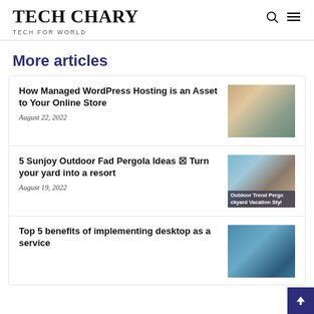TECH CHARY
TECH FOR WORLD
More articles
How Managed WordPress Hosting is an Asset to Your Online Store
August 22, 2022
[Figure (photo): Two women looking at a tablet device in a shop setting]
5 Sunjoy Outdoor Fad Pergola Ideas ⊠ Turn your yard into a resort
August 19, 2022
[Figure (photo): Outdoor pergola area with text overlay reading 'Outdoor Trend Pergola Backyard Vacation Style']
Top 5 benefits of implementing desktop as a service
[Figure (photo): Aerial view of a pool area with outdoor furniture]